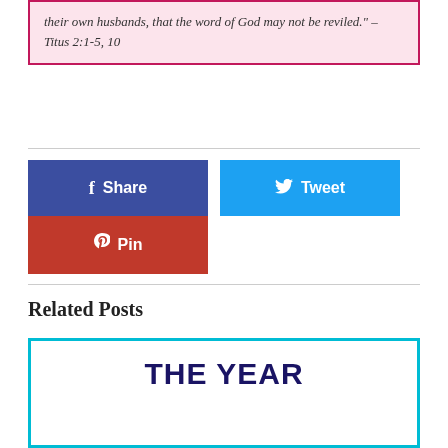their own husbands, that the word of God may not be reviled." – Titus 2:1-5, 10
[Figure (other): Social sharing buttons: Share (Facebook, blue), Tweet (Twitter, light blue), Pin (Pinterest, red)]
Related Posts
[Figure (other): Related post card with teal border showing 'THE YEAR' in large dark navy bold text]